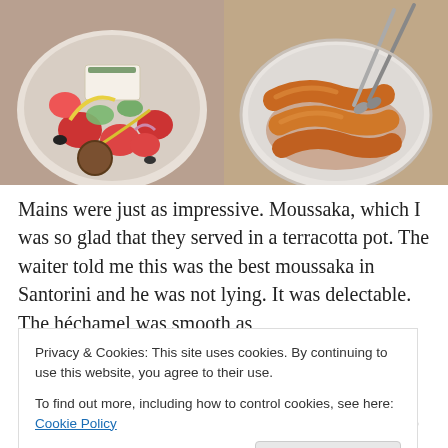[Figure (photo): Two food photos side by side: left shows a Greek salad with feta cheese, tomatoes, cucumber, olives, and a falafel; right shows a plate of sausages being served with tongs.]
Mains were just as impressive. Moussaka, which I was so glad that they served in a terracotta pot. The waiter told me this was the best moussaka in Santorini and he was not lying. It was delectable. The héchamel was smooth as
Privacy & Cookies: This site uses cookies. By continuing to use this website, you agree to their use.
To find out more, including how to control cookies, see here: Cookie Policy
dry, so disappointing for something that looked so